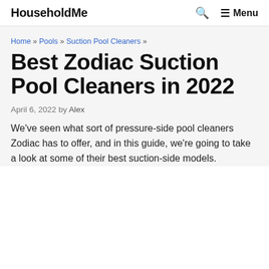HouseholdMe | Search | Menu
Home » Pools » Suction Pool Cleaners »
Best Zodiac Suction Pool Cleaners in 2022
April 6, 2022 by Alex
We've seen what sort of pressure-side pool cleaners Zodiac has to offer, and in this guide, we're going to take a look at some of their best suction-side models.